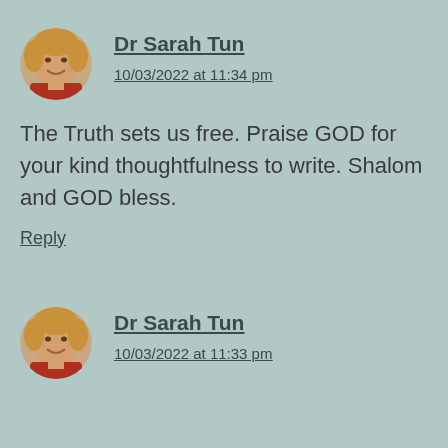[Figure (photo): Circular avatar photo of Dr Sarah Tun, a woman with blonde hair and a red top, smiling]
Dr Sarah Tun
10/03/2022 at 11:34 pm
The Truth sets us free. Praise GOD for your kind thoughtfulness to write. Shalom and GOD bless.
Reply
[Figure (photo): Circular avatar photo of Dr Sarah Tun, a woman with blonde hair and a red top, smiling]
Dr Sarah Tun
10/03/2022 at 11:33 pm